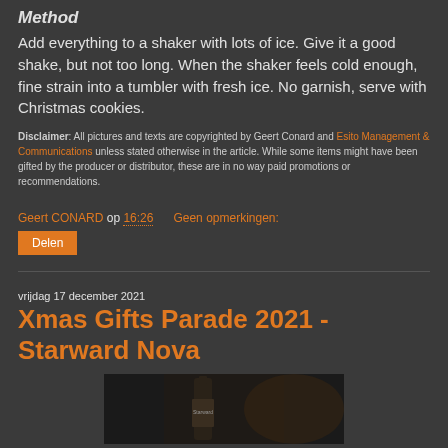Method
Add everything to a shaker with lots of ice. Give it a good shake, but not too long. When the shaker feels cold enough, fine strain into a tumbler with fresh ice. No garnish, serve with Christmas cookies.
Disclaimer: All pictures and texts are copyrighted by Geert Conard and Esito Management & Communications unless stated otherwise in the article. While some items might have been gifted by the producer or distributor, these are in no way paid promotions or recommendations.
Geert CONARD op 16:26   Geen opmerkingen:
Delen
vrijdag 17 december 2021
Xmas Gifts Parade 2021 - Starward Nova
[Figure (photo): Dark background photo showing a bottle, partially visible, with label referencing Starward Nova whisky]